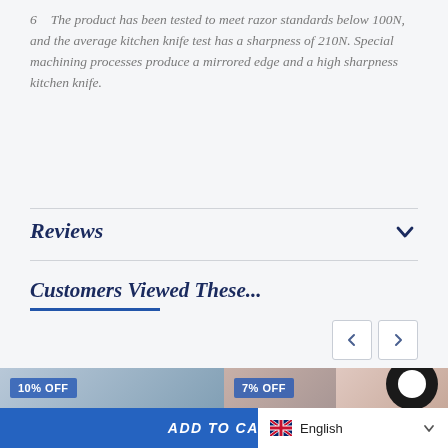6　The product has been tested to meet razor standards below 100N, and the average kitchen knife test has a sharpness of 210N. Special machining processes produce a mirrored edge and a high sharpness kitchen knife.
Reviews
Customers Viewed These...
[Figure (photo): Product image thumbnail showing hands with a blue object, with a '10% OFF' discount badge overlay]
[Figure (photo): Product image thumbnails (two side by side) showing skin/body close-up, with a '7% OFF' discount badge overlay and a chat bubble icon]
ADD TO CART
English